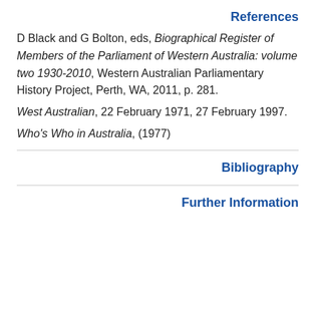References
D Black and G Bolton, eds, Biographical Register of Members of the Parliament of Western Australia: volume two 1930-2010, Western Australian Parliamentary History Project, Perth, WA, 2011, p. 281.
West Australian, 22 February 1971, 27 February 1997.
Who's Who in Australia, (1977)
Bibliography
Further Information